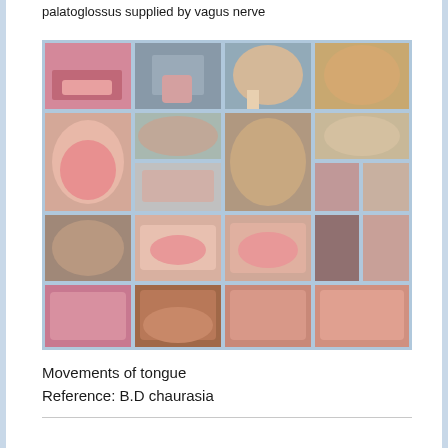palatoglossus supplied by vagus nerve
[Figure (photo): Collage of multiple photos showing various tongue movements and positions, including adults and children with tongues out, mouths open, and various tongue-related expressions.]
Movements of tongue
Reference: B.D chaurasia